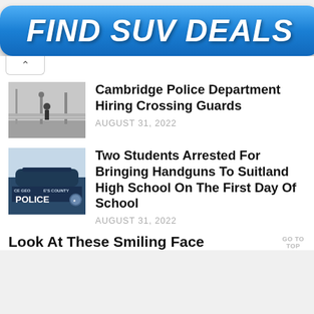[Figure (infographic): Blue gradient button/banner with bold white italic text reading FIND SUV DEALS]
^
[Figure (photo): Black and white photo of a street crossing scene]
Cambridge Police Department Hiring Crossing Guards
AUGUST 31, 2022
[Figure (photo): Color photo of a Prince George's County Police car]
Two Students Arrested For Bringing Handguns To Suitland High School On The First Day Of School
AUGUST 31, 2022
Look At These Smiling Face
GO TO TOP